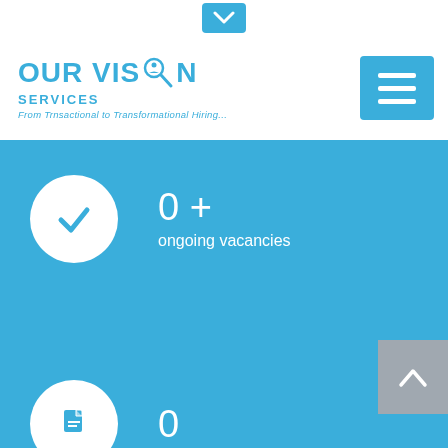[Figure (logo): Down arrow button in blue rounded rectangle at top center]
[Figure (logo): Our Vision Services logo with magnifying glass icon and tagline 'From Trnsactional to Transformational Hiring...']
[Figure (other): Hamburger menu button in blue]
[Figure (infographic): Blue background section with white circle checkmark icon, stat showing '0+' ongoing vacancies]
0 +
ongoing vacancies
0